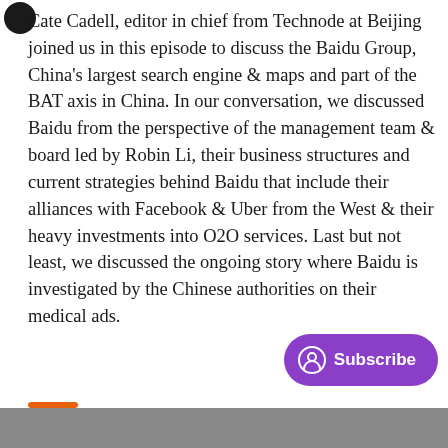Cate Cadell, editor in chief from Technode at Beijing joined us in this episode to discuss the Baidu Group, China's largest search engine & maps and part of the BAT axis in China. In our conversation, we discussed Baidu from the perspective of the management team & board led by Robin Li, their business structures and current strategies behind Baidu that include their alliances with Facebook & Uber from the West & their heavy investments into O2O services. Last but not least, we discussed the ongoing story where Baidu is investigated by the Chinese authorities on their medical ads.